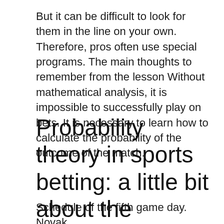But it can be difficult to look for them in the line on your own. Therefore, pros often use special programs. The main thoughts to remember from the lesson Without mathematical analysis, it is impossible to successfully play on bets. It is necessary to learn how to calculate the probability of the outcome of the match.
Probability theory in sports betting: a little bit about the scientific approach
Schedule of the fifth game day. Novak Djokovic...